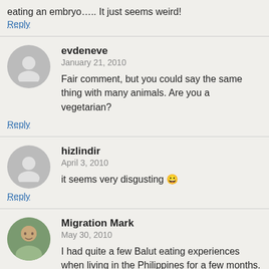eating an embryo….. It just seems weird!
Reply
evdeneve
January 21, 2010
Fair comment, but you could say the same thing with many animals. Are you a vegetarian?
Reply
hizlindir
April 3, 2010
it seems very disgusting 😀
Reply
Migration Mark
May 30, 2010
I had quite a few Balut eating experiences when living in the Philippines for a few months. I started dousing it with a huge amount of the vinegar chili sauce for best taste, and started to enjoy it. However, I still prefer the "1 day...